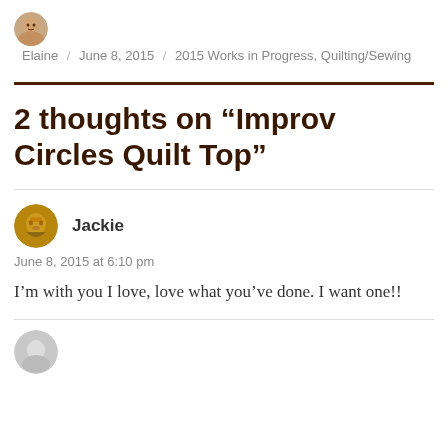Elaine / June 8, 2015 / 2015 Works in Progress, Quilting/Sewing
2 thoughts on “Improv Circles Quilt Top”
Jackie
June 8, 2015 at 6:10 pm
I’m with you I love, love what you’ve done. I want one!!